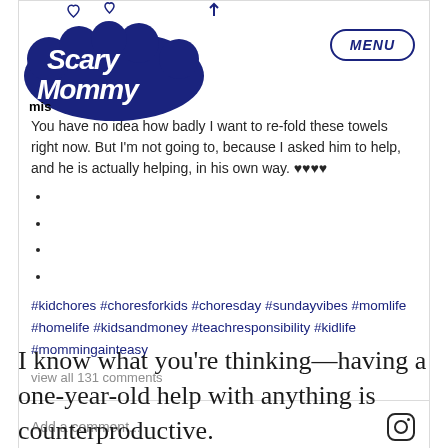[Figure (screenshot): Scary Mommy website header with logo on left and MENU button on right]
mis
You have no idea how badly I want to re-fold these towels right now. But I'm not going to, because I asked him to help, and he is actually helping, in his own way. ♥♥♥♥
•
•
•
•
#kidchores #choresforkids #choresday #sundayvibes #momlife #homelife #kidsandmoney #teachresponsibility #kidlife #mommingainteasy
view all 131 comments
Add a comment...
I know what you're thinking—having a one-year-old help with anything is counterproductive.